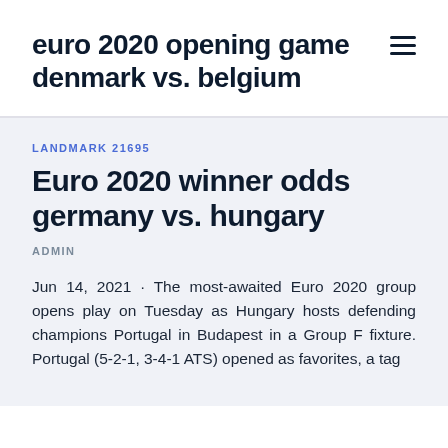euro 2020 opening game denmark vs. belgium
LANDMARK 21695
Euro 2020 winner odds germany vs. hungary
ADMIN
Jun 14, 2021 · The most-awaited Euro 2020 group opens play on Tuesday as Hungary hosts defending champions Portugal in Budapest in a Group F fixture. Portugal (5-2-1, 3-4-1 ATS) opened as favorites, a tag